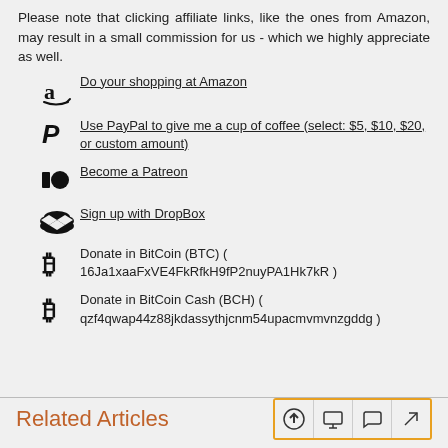Please note that clicking affiliate links, like the ones from Amazon, may result in a small commission for us - which we highly appreciate as well.
Do your shopping at Amazon
Use PayPal to give me a cup of coffee (select: $5, $10, $20, or custom amount)
Become a Patreon
Sign up with DropBox
Donate in BitCoin (BTC) ( 16Ja1xaaFxVE4FkRfkH9fP2nuyPA1Hk7kR )
Donate in BitCoin Cash (BCH) ( qzf4qwap44z88jkdassythjcnm54upacmvmvnzgddg )
Related Articles